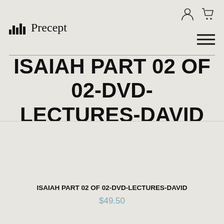Precept
ISAIAH PART 02 OF 02-DVD-LECTURES-DAVID
ISAIAH PART 02 OF 02-DVD-LECTURES-DAVID
$49.50